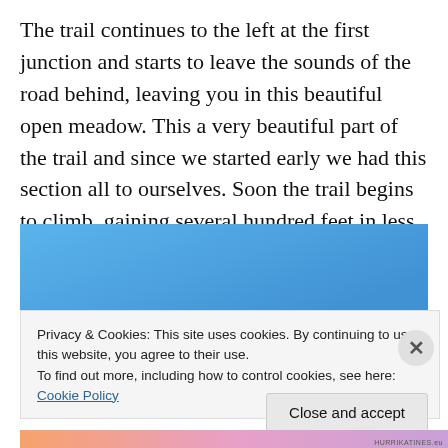The trail continues to the left at the first junction and starts to leave the sounds of the road behind, leaving you in this beautiful open meadow. This a very beautiful part of the trail and since we started early we had this section all to ourselves. Soon the trail begins to climb, gaining several hundred feet in less than 2 miles.
[Figure (photo): A blue sky photograph, likely taken on the trail described in the text above.]
Privacy & Cookies: This site uses cookies. By continuing to use this website, you agree to their use.
To find out more, including how to control cookies, see here: Cookie Policy
Close and accept